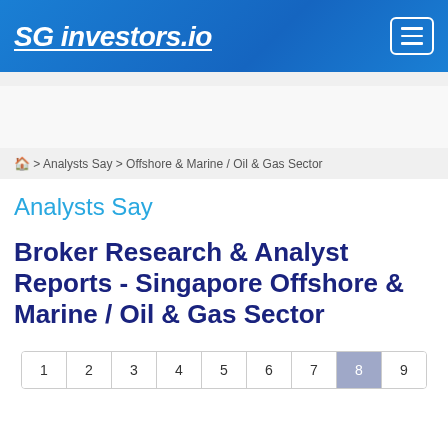SG investors.io
🏠 > Analysts Say > Offshore & Marine / Oil & Gas Sector
Analysts Say
Broker Research & Analyst Reports - Singapore Offshore & Marine / Oil & Gas Sector
Pagination: 1 2 3 4 5 6 7 8 9